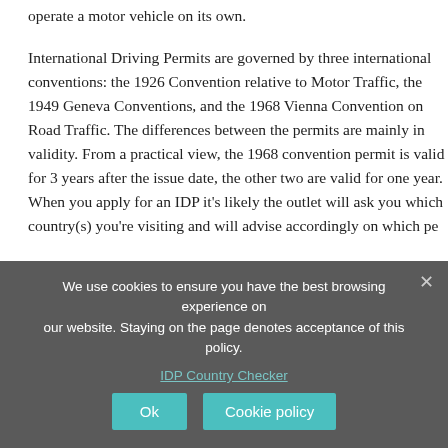operate a motor vehicle on its own.
International Driving Permits are governed by three international conventions: the 1926 Convention relative to Motor Traffic, the 1949 Geneva Convention, and the 1968 Vienna Convention on Road Traffic. The differences between the permits are mainly in validity. From memory view, the 1968 convention permit is valid for 3 years after the issue date, the 1949 and 1926 permits are valid for one year. When you apply for an IDP it's likely the outlet will ask you which country(s) you're visiting and will advise accordingly on which permit you need.
In Summary though – Only Iraq, Somalia and Brazil require a 1926 permit. Canada, USA and Mexico also recognise it. All remaining countries recognise the 1949 convention and most recognise the 1968 convention.
The UK Post Office offer an online checker to advise which permit you need. If your trip will cover more than one country, you'll need to advise them of all countries in person.
IDP Country Checker
We use cookies to ensure you have the best browsing experience on our website. Staying on the page denotes acceptance of this policy.